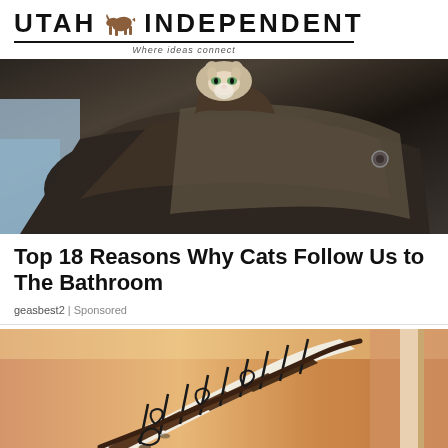UTAH INDEPENDENT — Where ideas connect
[Figure (photo): A cat peeking out from inside folded dark clothing or a bag, looking at the camera, with a light blue background partially visible.]
Top 18 Reasons Why Cats Follow Us to The Bathroom
geasbest2 | Sponsored
[Figure (photo): Interior photo of a curved staircase with ornate wrought iron balusters and dark wood handrails, set against warm orange/tan walls.]